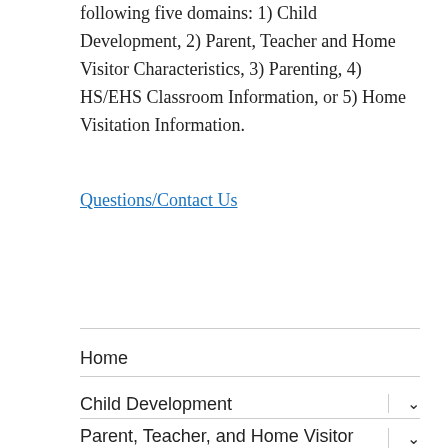following five domains: 1) Child Development, 2) Parent, Teacher and Home Visitor Characteristics, 3) Parenting, 4) HS/EHS Classroom Information, or 5) Home Visitation Information.
Questions/Contact Us
Home
Child Development
Parent, Teacher, and Home Visitor Characteristics